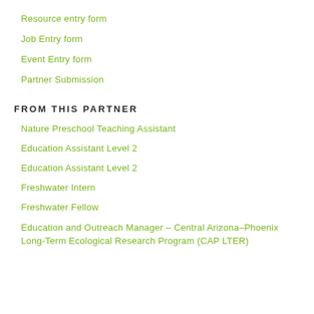Resource entry form
Job Entry form
Event Entry form
Partner Submission
FROM THIS PARTNER
Nature Preschool Teaching Assistant
Education Assistant Level 2
Education Assistant Level 2
Freshwater Intern
Freshwater Fellow
Education and Outreach Manager – Central Arizona–Phoenix Long-Term Ecological Research Program (CAP LTER)